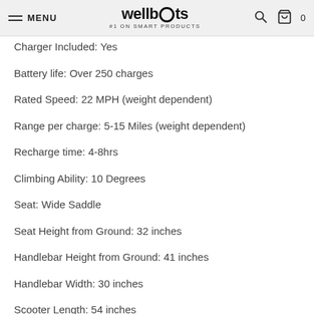MENU | wellbots #1 on smart products
Charger Included: Yes
Battery life: Over 250 charges
Rated Speed: 22 MPH (weight dependent)
Range per charge: 5-15 Miles (weight dependent)
Recharge time: 4-8hrs
Climbing Ability: 10 Degrees
Seat: Wide Saddle
Seat Height from Ground: 32 inches
Handlebar Height from Ground: 41 inches
Handlebar Width: 30 inches
Scooter Length: 54 inches